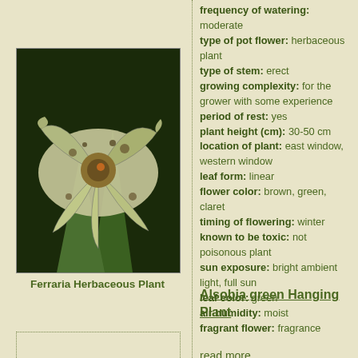[Figure (photo): Close-up photo of Ferraria herbaceous plant flower with brown, green and claret mottled petals with wavy edges]
Ferraria Herbaceous Plant
frequency of watering: moderate
type of pot flower: herbaceous plant
type of stem: erect
growing complexity: for the grower with some experience
period of rest: yes
plant height (cm): 30-50 cm
location of plant: east window, western window
leaf form: linear
flower color: brown, green, claret
timing of flowering: winter
known to be toxic: not poisonous plant
sun exposure: bright ambient light, full sun
leaf color: green
air humidity: moist
fragrant flower: fragrance
read more...
Alsobia green Hanging Plant